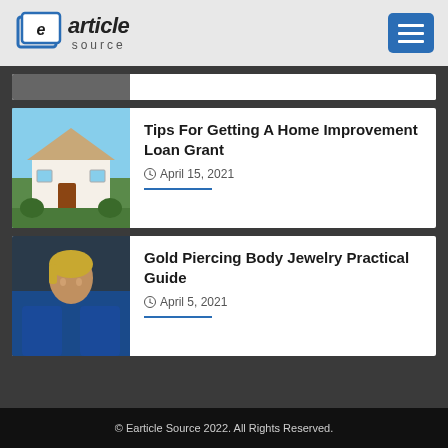earticle source
[Figure (photo): Partial view of a thumbnail image at the top of the page (cut off)]
Tips For Getting A Home Improvement Loan Grant
April 15, 2021
Gold Piercing Body Jewelry Practical Guide
April 5, 2021
© Earticle Source 2022. All Rights Reserved.